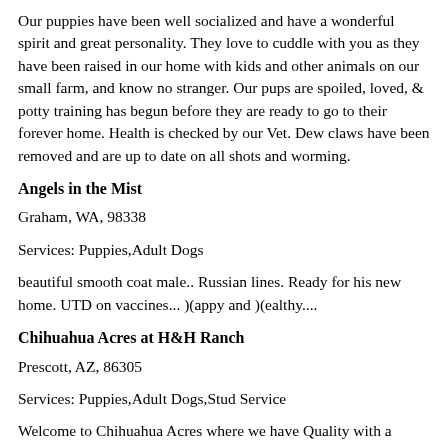Our puppies have been well socialized and have a wonderful spirit and great personality. They love to cuddle with you as they have been raised in our home with kids and other animals on our small farm, and know no stranger. Our pups are spoiled, loved, & potty training has begun before they are ready to go to their forever home. Health is checked by our Vet. Dew claws have been removed and are up to date on all shots and worming.
Angels in the Mist
Graham, WA, 98338
Services: Puppies,Adult Dogs
beautiful smooth coat male.. Russian lines. Ready for his new home. UTD on vaccines... )(appy and )(ealthy....
Chihuahua Acres at H&H Ranch
Prescott, AZ, 86305
Services: Puppies,Adult Dogs,Stud Service
Welcome to Chihuahua Acres where we have Quality with a Splash of Color. Long and Smooth Coat chihuahuas in a variety of colors such as Merles, brindles and chocolates! Parents are verified